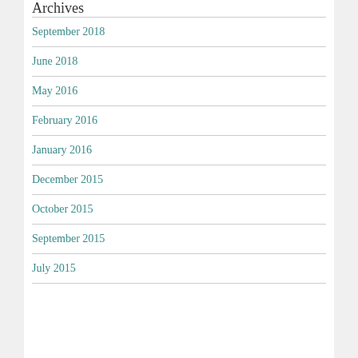Archives
September 2018
June 2018
May 2016
February 2016
January 2016
December 2015
October 2015
September 2015
July 2015